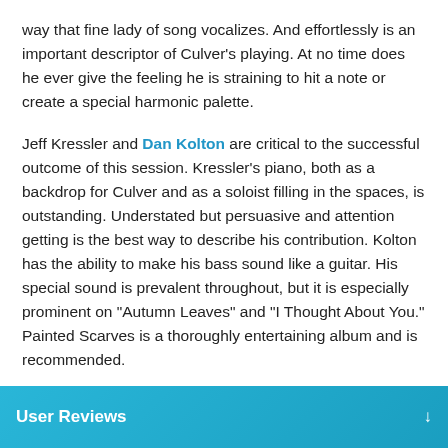way that fine lady of song vocalizes. And effortlessly is an important descriptor of Culver's playing. At no time does he ever give the feeling he is straining to hit a note or create a special harmonic palette.
Jeff Kressler and Dan Kolton are critical to the successful outcome of this session. Kressler's piano, both as a backdrop for Culver and as a soloist filling in the spaces, is outstanding. Understated but persuasive and attention getting is the best way to describe his contribution. Kolton has the ability to make his bass sound like a guitar. His special sound is prevalent throughout, but it is especially prominent on "Autumn Leaves" and "I Thought About You." Painted Scarves is a thoroughly entertaining album and is recommended.
User Reviews